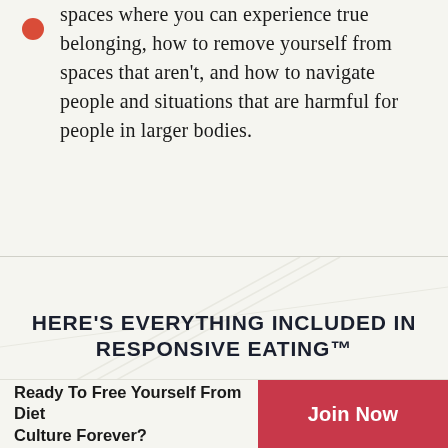spaces where you can experience true belonging, how to remove yourself from spaces that aren't, and how to navigate people and situations that are harmful for people in larger bodies.
[Figure (illustration): Decorative geometric lines on a light cream/off-white background, forming an abstract angular pattern in the midsection of the page.]
HERE'S EVERYTHING INCLUDED IN RESPONSIVE EATING™
[Figure (screenshot): Partial view of course materials preview showing text 'LIFETIME ACCESS TO THE 6-MODULE ONLINE COURSE' with additional partially visible text below.]
Ready To Free Yourself From Diet Culture Forever?